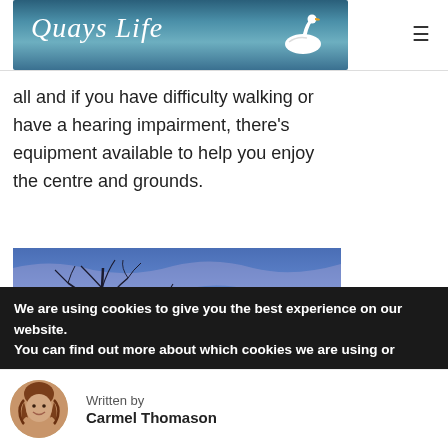Quays Life
all and if you have difficulty walking or have a hearing impairment, there's equipment available to help you enjoy the centre and grounds.
[Figure (photo): Panoramic nature photograph showing bare tree branches silhouetted against a blue and purple sky at dusk or dawn]
We are using cookies to give you the best experience on our website.
You can find out more about which cookies we are using or
Written by
Carmel Thomason